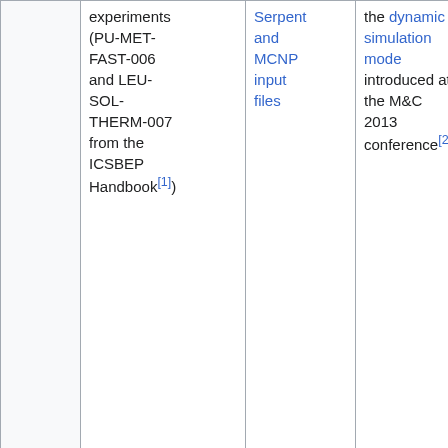|  | Benchmark/Case | Input Files | Description |  |
| --- | --- | --- | --- | --- |
|  | experiments (PU-MET-FAST-006 and LEU-SOL-THERM-007 from the ICSBEP Handbook[1]) | Serpent and MCNP input files | the dynamic simulation mode introduced at the M&C 2013 conference[2] |  |
|  | Godiva (HEU-MET-FAST-001 from the ICSBEP Handbook[1]) | Serpent, KENO, and MCNP input files | Simple input files for students who start to learn about Monte Carlo codes |  |
|  | Monte Carlo performance benchmark[3] | Serpent input file | Simplified 3D PWR core for testing the performance of Monte... |  |